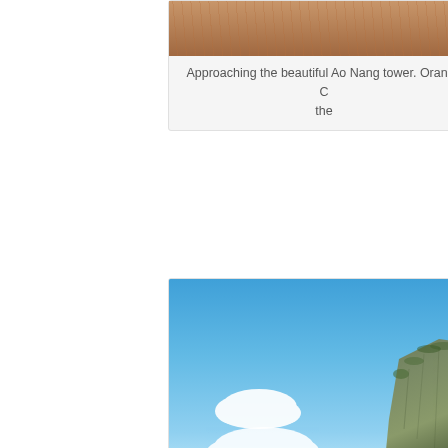[Figure (photo): Partially cropped photo showing what appears to be fabric or cloth, part of a scene at Ao Nang tower]
Approaching the beautiful Ao Nang tower. Orange C... the
[Figure (photo): Photo of a tall rocky cliff or karst formation against a bright blue sky with white clouds, characteristic of the Ao Nang area in Thailand]